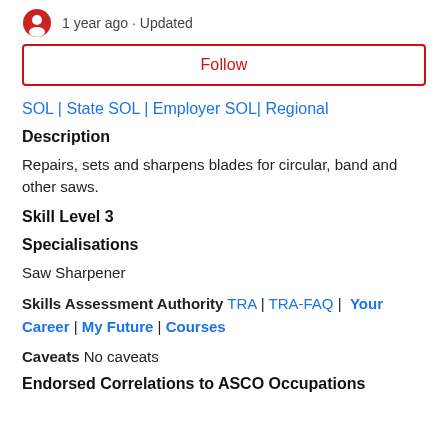1 year ago · Updated
Follow
SOL | State SOL | Employer SOL| Regional
Description
Repairs, sets and sharpens blades for circular, band and other saws.
Skill Level 3
Specialisations
Saw Sharpener
Skills Assessment Authority TRA | TRA-FAQ |  Your Career | My Future | Courses
Caveats No caveats
Endorsed Correlations to ASCO Occupations